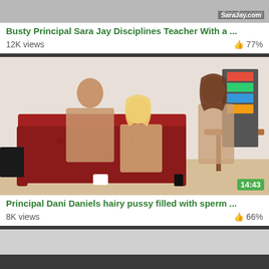[Figure (photo): Video thumbnail showing SaraJay.com watermark, cropped top portion visible]
Busty Principal Sara Jay Disciplines Teacher With a ...
12K views   👍 77%
[Figure (photo): Video thumbnail showing three people, duration badge 14:43, office/living room setting with red couch]
Principal Dani Daniels hairy pussy filled with sperm ...
8K views   👍 66%
[Figure (photo): Partial video thumbnail, bottom of page, mostly empty gray area]